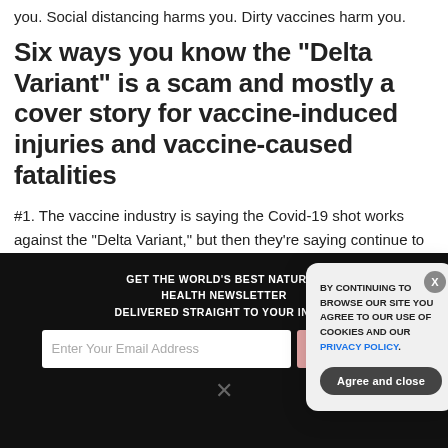you. Social distancing harms you. Dirty vaccines harm you.
Six ways you know the “Delta Variant” is a scam and mostly a cover story for vaccine-induced injuries and vaccine-caused fatalities
#1. The vaccine industry is saying the Covid-19 shot works against the “Delta Variant,” but then they’re saying continue to quarantine at home, wear a mask and social distance,
[Figure (screenshot): Dark newsletter signup banner with email input field and subscribe button, overlaid by a cookie consent popup dialog saying 'BY CONTINUING TO BROWSE OUR SITE YOU AGREE TO OUR USE OF COOKIES AND OUR PRIVACY POLICY.' with an 'Agree and close' button and an X close button.]